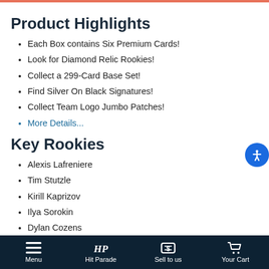Product Highlights
Each Box contains Six Premium Cards!
Look for Diamond Relic Rookies!
Collect a 299-Card Base Set!
Find Silver On Black Signatures!
Collect Team Logo Jumbo Patches!
More Details...
Key Rookies
Alexis Lafreniere
Tim Stutzle
Kirill Kaprizov
Ilya Sorokin
Dylan Cozens
Menu  Hit Parade  Sell to us  Your Cart